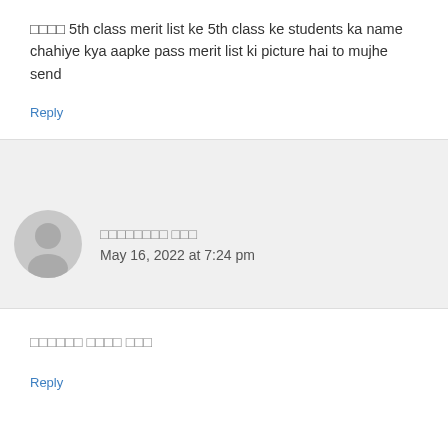□□□□ 5th class merit list ke 5th class ke students ka name chahiye kya aapke pass merit list ki picture hai to mujhe send
Reply
□□□□□□□□ □□□
May 16, 2022 at 7:24 pm
□□□□□□ □□□□ □□□
Reply